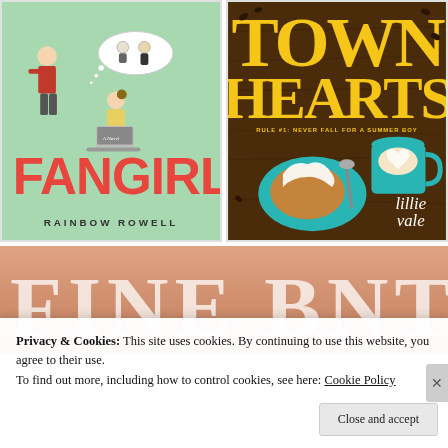[Figure (illustration): Book cover of 'Fangirl' by Rainbow Rowell. Teal/mint green background with illustrated characters and large red stylized title text 'FANGIRL'. Author name 'RAINBOW ROWELL' at bottom.]
[Figure (photo): Book cover of 'Town Hearts' by Lillie Vale. Dark wood background with yellow bold title text 'TOWN HEARTS' at top, subtitle 'Rule #1: Never Fall for a Summer Boy', photo of pie and latte coffee on teal plates, author name 'lillie vale' in white italic script at bottom right.]
[Figure (photo): Partial book cover with peach/tan background showing large block letters, partially visible.]
Privacy & Cookies: This site uses cookies. By continuing to use this website, you agree to their use.
To find out more, including how to control cookies, see here: Cookie Policy
Close and accept